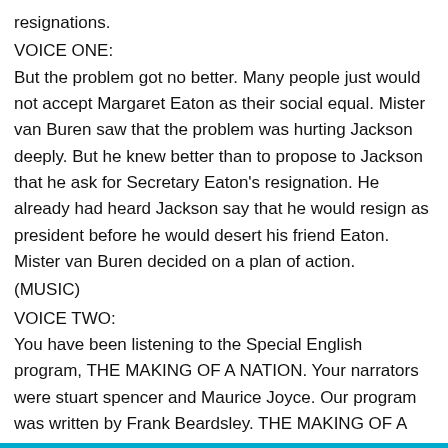resignations.
VOICE ONE:
But the problem got no better. Many people just would not accept Margaret Eaton as their social equal. Mister van Buren saw that the problem was hurting Jackson deeply. But he knew better than to propose to Jackson that he ask for Secretary Eaton's resignation. He already had heard Jackson say that he would resign as president before he would desert his friend Eaton. Mister van Buren decided on a plan of action.
(MUSIC)
VOICE TWO:
You have been listening to the Special English program, THE MAKING OF A NATION. Your narrators were stuart spencer and Maurice Joyce. Our program was written by Frank Beardsley. THE MAKING OF A NATION can be heard Thursdays.